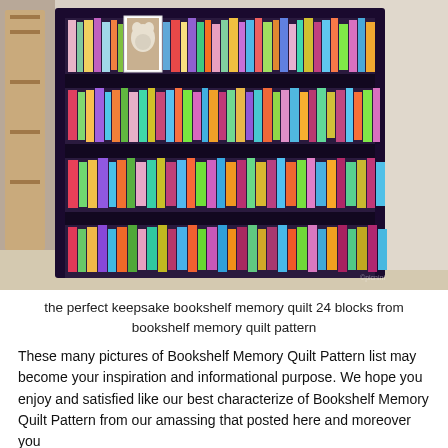[Figure (photo): A colorful bookshelf memory quilt displayed draped over a surface. The quilt features rows of fabric strips arranged to look like books on shelves, with a cat photo framed as one of the 'books' near the top center. The quilt has a dark border and vibrant multicolored fabric pieces.]
the perfect keepsake bookshelf memory quilt 24 blocks from bookshelf memory quilt pattern
These many pictures of Bookshelf Memory Quilt Pattern list may become your inspiration and informational purpose. We hope you enjoy and satisfied like our best characterize of Bookshelf Memory Quilt Pattern from our amassing that posted here and moreover you